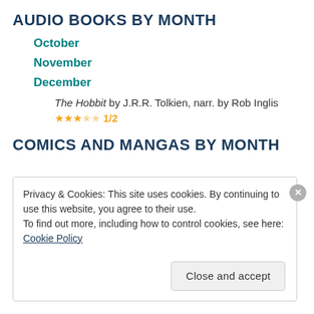AUDIO BOOKS BY MONTH
October
November
December
The Hobbit by J.R.R. Tolkien, narr. by Rob Inglis ★★★☆☆ 1/2
COMICS AND MANGAS BY MONTH
Privacy & Cookies: This site uses cookies. By continuing to use this website, you agree to their use.
To find out more, including how to control cookies, see here: Cookie Policy
Close and accept